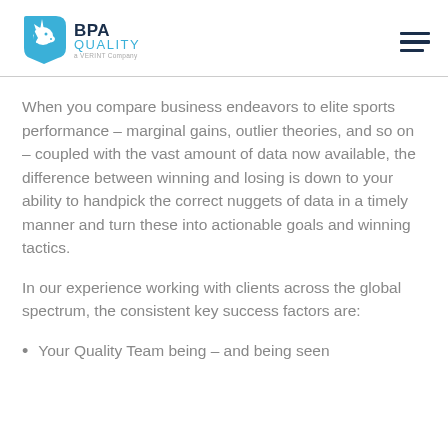BPA QUALITY a VERINT Company
When you compare business endeavors to elite sports performance – marginal gains, outlier theories, and so on – coupled with the vast amount of data now available, the difference between winning and losing is down to your ability to handpick the correct nuggets of data in a timely manner and turn these into actionable goals and winning tactics.
In our experience working with clients across the global spectrum, the consistent key success factors are:
Your Quality Team being – and being seen